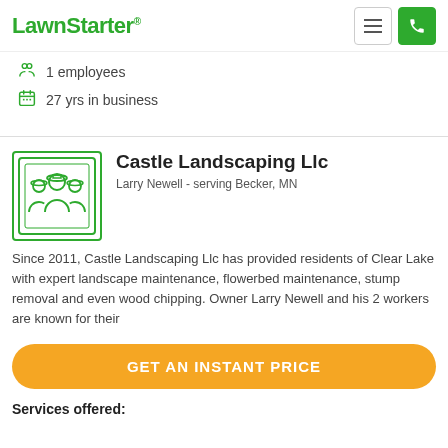LawnStarter®
1 employees
27 yrs in business
Castle Landscaping Llc
Larry Newell - serving Becker, MN
Since 2011, Castle Landscaping Llc has provided residents of Clear Lake with expert landscape maintenance, flowerbed maintenance, stump removal and even wood chipping. Owner Larry Newell and his 2 workers are known for their
GET AN INSTANT PRICE
Services offered: